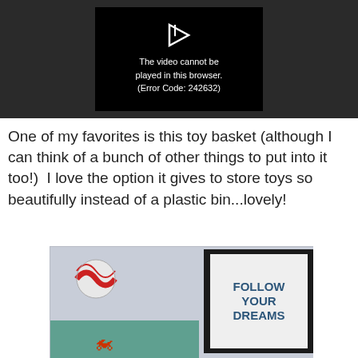[Figure (screenshot): Video player showing error message: 'The video cannot be played in this browser. (Error Code: 242632)' on a black background within a dark gray player area.]
One of my favorites is this toy basket (although I can think of a bunch of other things to put into it too!)  I love the option it gives to store toys so beautifully instead of a plastic bin...lovely!
[Figure (photo): A room scene with a framed 'FOLLOW YOUR DREAMS' poster, a striped ball, and toy vehicles on a teal shelf, set against a light blue-gray background.]